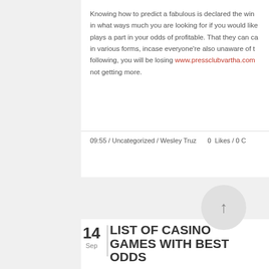Knowing how to predict a fabulous is declared the win... in what ways much you are looking for if you would like... plays a part in your odds of profitable. That they can ca... in various forms, incase everyone're also unaware of t... following, you will be losing www.pressclubvartha.com ... not getting more.
09:55 / Uncategorized / Wesley Truz      0  Likes / 0 C
LIST OF CASINO GAMES WITH BEST ODDS